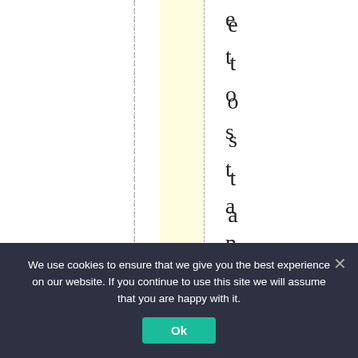[Figure (screenshot): A webpage screenshot showing vertical rotated text reading 'e t o s t a n d u p t o t h e m .' with a yellow highlighted column, dashed vertical lines, and green/red circles at the bottom.]
We use cookies to ensure that we give you the best experience on our website. If you continue to use this site we will assume that you are happy with it.
Ok